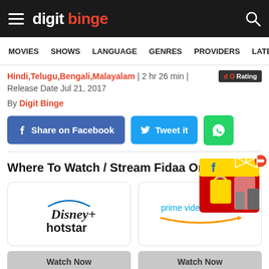digit binge
MOVIES  SHOWS  LANGUAGE  GENRES  PROVIDERS  LATE
Hindi,Telugu,Bengali,Malayalam | 2 hr 26 min | Release Date Jul 21, 2017
By Digit Binge
Share on Facebook  Tweet it  [WhatsApp]
Where To Watch / Stream Fidaa Online
[Figure (logo): Disney+ Hotstar logo]
[Figure (logo): Amazon Prime Video logo]
Watch Now
Watch Now